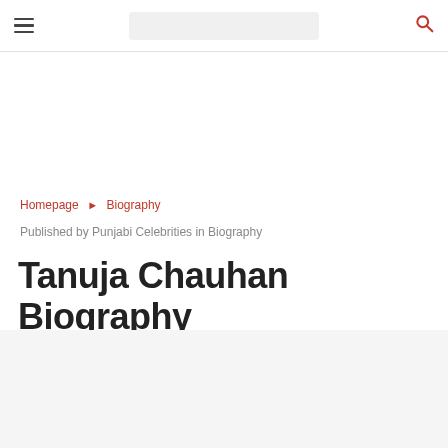Navigation bar with hamburger menu, search bar, and search icon
Homepage » Biography
Published by Punjabi Celebrities in Biography
Tanuja Chauhan Biography